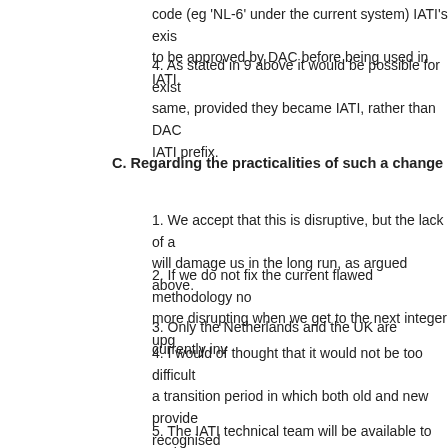code (eg 'NL-6' under the current system) IATI's exi to be approved by DAC before being used in IATI
4. As stated in 9 above it would be possible for exi same, provided they became IATI, rather than DAC IATI prefix.
C. Regarding the practicalities of such a change
1. We accept that this is disruptive, but the lack of a will damage us in the long run, as argued above.
2. If we do not fix the current flawed methodology n more disrupting when we get to the next integer upg
3. Only the Netherlands and the UK are currently in
4. I would of thought that it would not be too difficult a transition period in which both old and new provid recognised
5. The IATI technical team will be available to assis
Could you indicate which of these points are not acce
Best
Bill